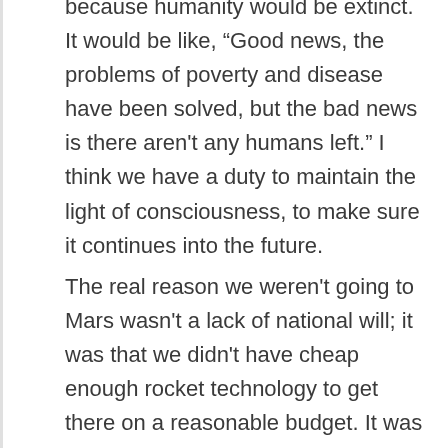because humanity would be extinct. It would be like, “Good news, the problems of poverty and disease have been solved, but the bad news is there aren't any humans left.” I think we have a duty to maintain the light of consciousness, to make sure it continues into the future.
The real reason we weren't going to Mars wasn't a lack of national will; it was that we didn't have cheap enough rocket technology to get there on a reasonable budget. It was the perception among the American